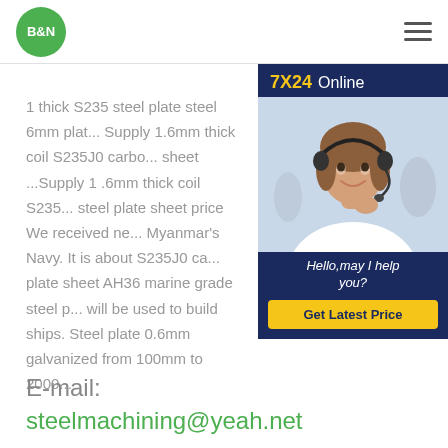[Figure (logo): B&N company logo: green circle with white bold B&N text]
[Figure (infographic): Chat widget with '7X24 Online' header, photo of woman with headset, 'Hello,may I help you?' message, and 'Get Latest Price' button]
1 thick S235 steel plate steel 6mm plat... Supply 1.6mm thick coil S235J0 carbo... sheet ...Supply 1 .6mm thick coil S235... steel plate sheet price We received ne... Myanmar's Navy. It is about S235J0 ca... plate sheet AH36 marine grade steel p... will be used to build ships. Steel plate 0.6mm galvanized from 100mm to 2000...
E-mail:
steelmachining@yeah.net